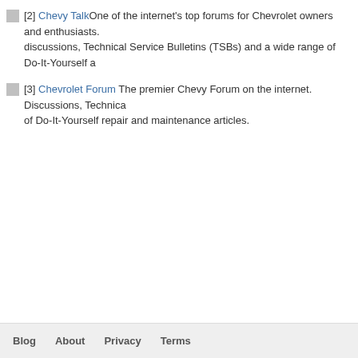[2] Chevy Talk One of the internet's top forums for Chevrolet owners and enthusiasts. discussions, Technical Service Bulletins (TSBs) and a wide range of Do-It-Yourself a...
[3] Chevrolet Forum The premier Chevy Forum on the internet. Discussions, Technica... of Do-It-Yourself repair and maintenance articles.
Blog  About  Privacy  Terms